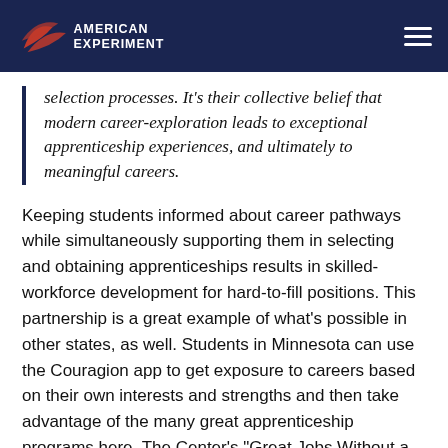American Experiment
selection processes. It's their collective belief that modern career-exploration leads to exceptional apprenticeship experiences, and ultimately to meaningful careers.
Keeping students informed about career pathways while simultaneously supporting them in selecting and obtaining apprenticeships results in skilled-workforce development for hard-to-fill positions. This partnership is a great example of what's possible in other states, as well. Students in Minnesota can use the Couragion app to get exposure to careers based on their own interests and strengths and then take advantage of the many great apprenticeship programs here. The Center's "Great Jobs Without a Four-Year Degree"